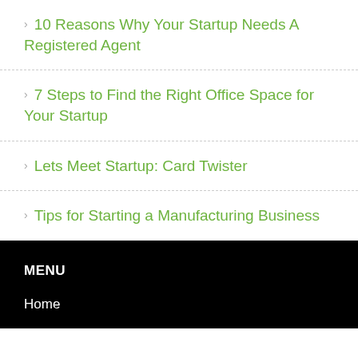10 Reasons Why Your Startup Needs A Registered Agent
7 Steps to Find the Right Office Space for Your Startup
Lets Meet Startup: Card Twister
Tips for Starting a Manufacturing Business
MENU
Home